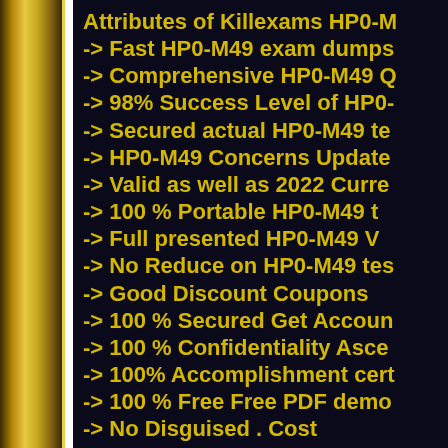Attributes of Killexams HP0-M...
-> Fast HP0-M49 exam dumps...
-> Comprehensive HP0-M49 Q...
-> 98% Success Level of HP0-...
-> Secured actual HP0-M49 te...
-> HP0-M49 Concerns Update...
-> Valid as well as 2022 Curre...
-> 100 % Portable HP0-M49 t...
-> Full presented HP0-M49 V...
-> No Reduce on HP0-M49 tes...
-> Good Discount Coupons
-> 100 % Secured Get Accoun...
-> 100 % Confidentiality Asce...
-> 100% Accomplishment cert...
-> 100 % Free Free PDF demo...
-> No Disguised . Cost